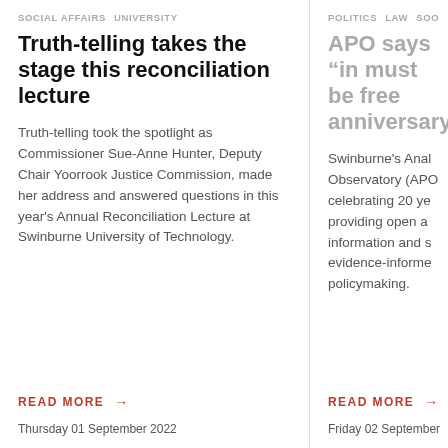SOCIAL AFFAIRS  UNIVERSITY
Truth-telling takes the stage this reconciliation lecture
Truth-telling took the spotlight as Commissioner Sue-Anne Hunter, Deputy Chair Yoorrook Justice Commission, made her address and answered questions in this year’s Annual Reconciliation Lecture at Swinburne University of Technology.
Read more →
Thursday 01 September 2022
POLITICS  LAW  SOO...
APO says “in... must be free... anniversary...
Swinburne’s Anal... Observatory (APO... celebrating 20 ye... providing open a... information and s... evidence-informe... policymaking.
Read more →
Friday 02 September...